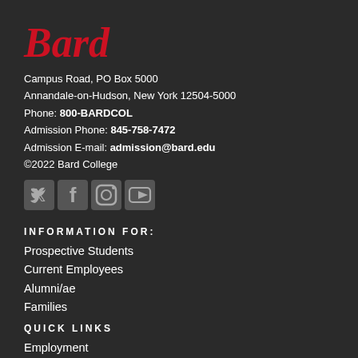Bard
Campus Road, PO Box 5000
Annandale-on-Hudson, New York 12504-5000
Phone: 800-BARDCOL
Admission Phone: 845-758-7472
Admission E-mail: admission@bard.edu
©2022 Bard College
[Figure (logo): Social media icons: Twitter, Facebook, Instagram, YouTube]
INFORMATION FOR:
Prospective Students
Current Employees
Alumni/ae
Families
QUICK LINKS
Employment